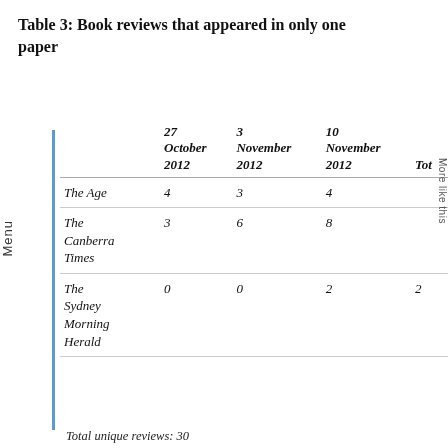Table 3: Book reviews that appeared in only one paper
|  | 27 October 2012 | 3 November 2012 | 10 November 2012 | Tot |
| --- | --- | --- | --- | --- |
| The Age | 4 | 3 | 4 |  |
| The Canberra Times | 3 | 6 | 8 |  |
| The Sydney Morning Herald | 0 | 0 | 2 | 2 |
Total unique reviews: 30